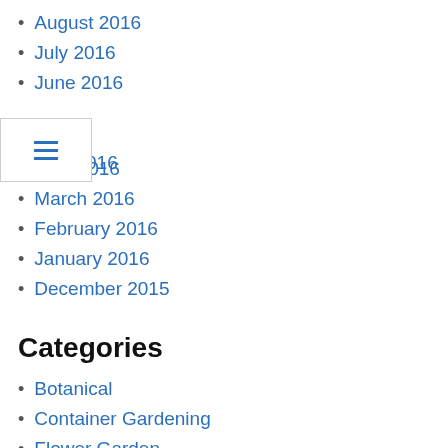August 2016
July 2016
June 2016
May 2016
April 2016
March 2016
February 2016
January 2016
December 2015
Categories
Botanical
Container Gardening
Flower Garden
Garden
Garden Center